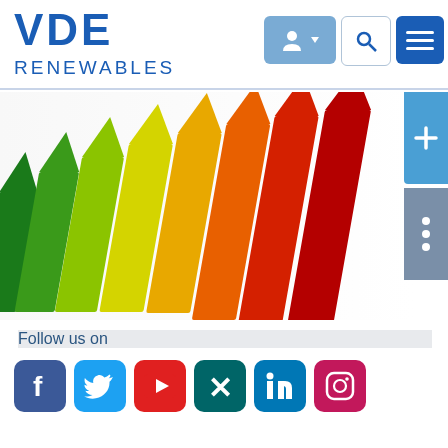VDE RENEWABLES
[Figure (photo): Colorful house-shaped energy rating bars in green, yellow, orange, and red, arranged diagonally like an energy efficiency chart, viewed from the side.]
Follow us on
[Figure (infographic): Row of social media icons: Facebook (blue), Twitter (light blue), YouTube (red), Xing (teal), LinkedIn (dark blue), Instagram (pink/magenta)]